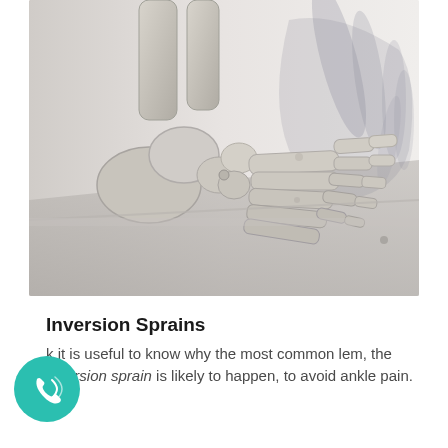[Figure (photo): Close-up photo of a foot skeleton anatomical model resting on a surface, showing the bones of the foot and toes from a lateral view. The model casts shadows on a white wall behind it.]
Inversion Sprains
k it is useful to know why the most common lem, the Inversion sprain is likely to happen, to avoid ankle pain.